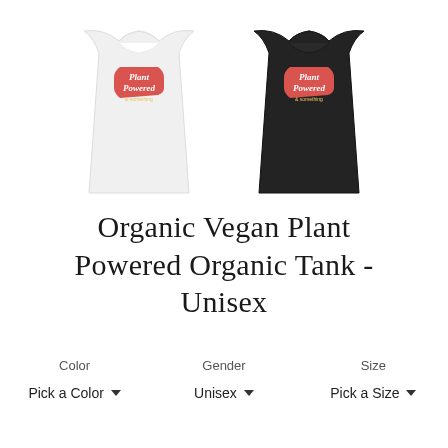[Figure (photo): Two tank tops shown side by side: a white tank top on the left and a black tank top on the right, each with a red hexagonal 'Plant Powered' logo printed on the chest.]
Organic Vegan Plant Powered Organic Tank - Unisex
Color   Gender   Size
Pick a Color ▼   Unisex ▼   Pick a Size ▼